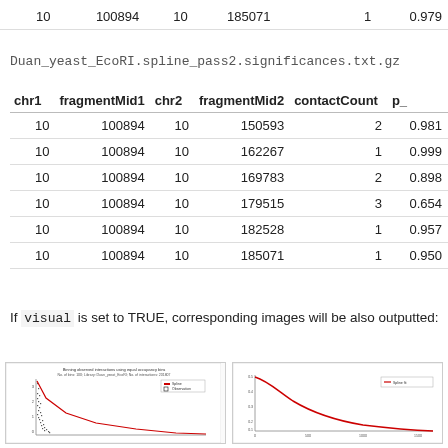| chr1 | fragmentMid1 | chr2 | fragmentMid2 | contactCount | p_ |
| --- | --- | --- | --- | --- | --- |
| 10 | 100894 | 10 | 185071 | 1 | 0.979 |
Duan_yeast_EcoRI.spline_pass2.significances.txt.gz
| chr1 | fragmentMid1 | chr2 | fragmentMid2 | contactCount | p_ |
| --- | --- | --- | --- | --- | --- |
| 10 | 100894 | 10 | 150593 | 2 | 0.981 |
| 10 | 100894 | 10 | 162267 | 1 | 0.999 |
| 10 | 100894 | 10 | 169783 | 2 | 0.898 |
| 10 | 100894 | 10 | 179515 | 3 | 0.654 |
| 10 | 100894 | 10 | 182528 | 1 | 0.957 |
| 10 | 100894 | 10 | 185071 | 1 | 0.950 |
If visual is set to TRUE, corresponding images will be also outputted:
[Figure (scatter-plot): Scatter plot showing observed interactions using equal occupancy bins. Title: Binning observed interactions using equal occupancy bins. Shows black data points with red overlay.]
[Figure (continuous-plot): Line chart showing a decaying red curve, likely a spline fit or significance curve vs distance.]